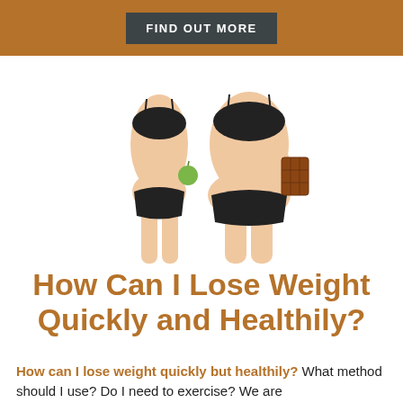FIND OUT MORE
[Figure (photo): Two women standing side by side from neck to thighs against white background. Left woman is slim and holds a green apple. Right woman is heavier and holds a chocolate bar. Both wear black underwear.]
How Can I Lose Weight Quickly and Healthily?
How can I lose weight quickly but healthily? What method should I use? Do I need to exercise? We are